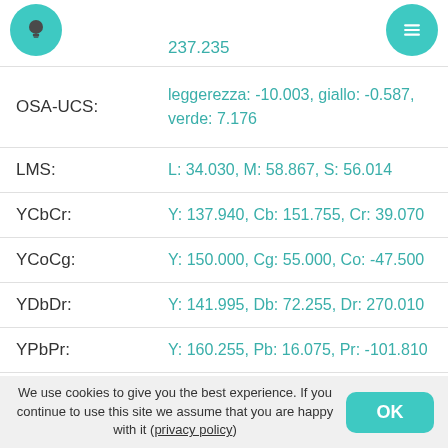237.235
OSA-UCS:
leggerezza: -10.003, giallo: -0.587, verde: 7.176
LMS: L: 34.030, M: 58.867, S: 56.014
YCbCr: Y: 137.940, Cb: 151.755, Cr: 39.070
YCoCg: Y: 150.000, Cg: 55.000, Co: -47.500
YDbDr: Y: 141.995, Db: 72.255, Dr: 270.010
YPbPr: Y: 160.255, Pb: 16.075, Pr: -101.810
xvYCC: Y: 153.631, Cb: 142.121, Cr: 38.567
YIQ: Y: 141.995, I: -117.303, Q: -48.016
YUV: Y: 141.995, U: 23.624, V: -124.575
We use cookies to give you the best experience. If you continue to use this site we assume that you are happy with it (privacy policy)